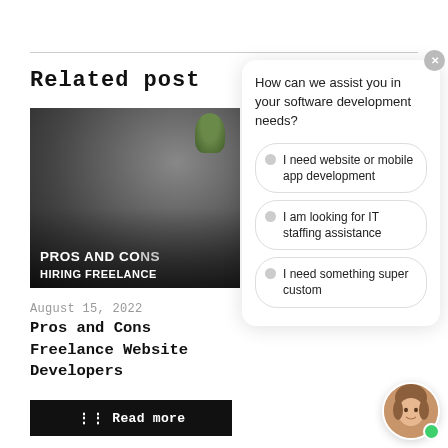Related post
[Figure (photo): Blog post thumbnail image showing people working, with overlay text 'PROS AND CONS HIRING FREELANCE']
August 15, 2022
Pros and Cons Freelance Website Developers
Read more
[Figure (screenshot): Chat widget with question 'How can we assist you in your software development needs?' and three options: 'I need website or mobile app development', 'I am looking for IT staffing assistance', 'I need something super custom'. Close button at top right. Avatar of a woman at bottom right with green online indicator.]